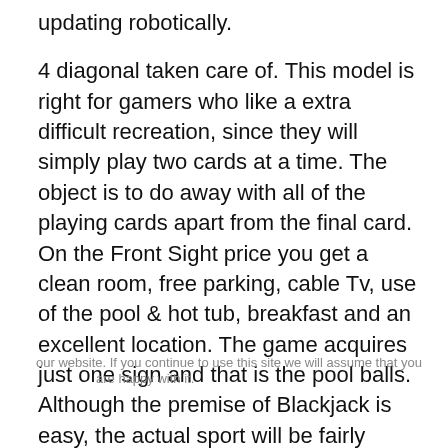updating robotically.
4 diagonal taken care of. This model is right for gamers who like a extra difficult recreation, since they will simply play two cards at a time. The object is to do away with all of the playing cards apart from the final card. On the Front Sight price you get a clean room, free parking, cable Tv, use of the pool & hot tub, breakfast and an excellent location. The game acquires just one sign and that is the pool balls. Although the premise of Blackjack is easy, the actual sport will be fairly sophisticated, involving many player options and aspect wager alternatives. Blackjack is a sport of respect and sophistication. The locals blackjack survey includes any golden nugget casino in the Las Vegas market that's not thought-about to be on the Strip or downtown. The Golden Mesa Casino has a 20,206 sq.-foot gaming floor with 600 digital gaming machines and 6 table video games.